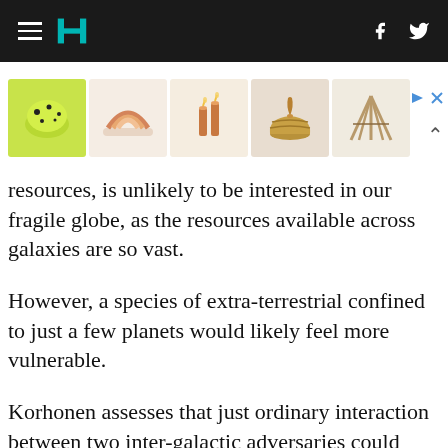HuffPost navigation header with hamburger menu, HuffPost logo, Facebook and Twitter icons
[Figure (other): Advertisement banner showing five product images: yellow spotted helmet, rainbow ceramic dish, candle holders, wicker basket, wooden tent/tipi toy. Has ad control icons (play/close, chevron up).]
resources, is unlikely to be interested in our fragile globe, as the resources available across galaxies are so vast.
However, a species of extra-terrestrial confined to just a few planets would likely feel more vulnerable.
Korhonen assesses that just ordinary interaction between two inter-galactic adversaries could inadvertently destroy or seriously damage one of them, through transmission of diseases, invasive species, computer viruses or even merely